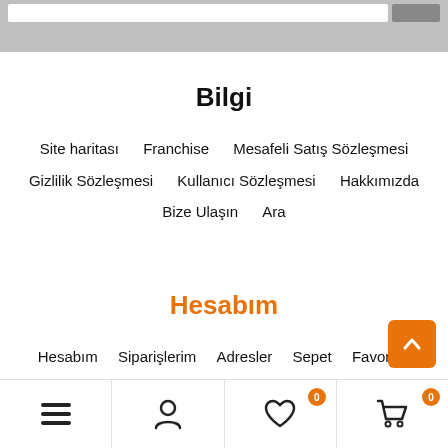Bilgi
Site haritası   Franchise   Mesafeli Satış Sözleşmesi   Gizlilik Sözleşmesi   Kullanıcı Sözleşmesi   Hakkımızda   Bize Ulaşın   Ara
Hesabım
Hesabım   Siparişlerim   Adresler   Sepet   Favoriler
Menu  Profile  Favorites (0)  Cart (0)